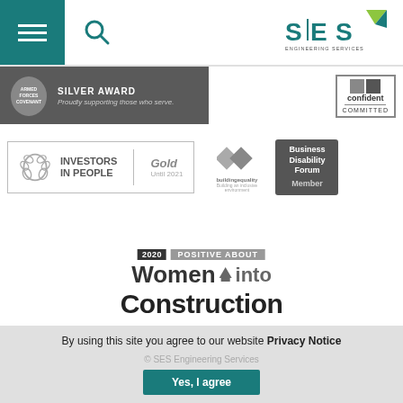[Figure (logo): SES Engineering Services logo with teal and green colors, top right of header]
[Figure (logo): Armed Forces Covenant Silver Award badge — dark gray background, shield icon, text: SILVER AWARD / Proudly supporting those who serve.]
[Figure (logo): Disability Confident Committed badge — bordered box with squares icon]
[Figure (logo): Investors in People Gold Until 2021 badge — wreath icon, bordered badge]
[Figure (logo): Building Equality logo — interlocking diamond shapes]
[Figure (logo): Business Disability Forum Member badge — dark gray rounded rectangle]
[Figure (logo): 2020 Positive About Women into Construction logo]
By using this site you agree to our website Privacy Notice
© SES Engineering Services
Yes, I agree